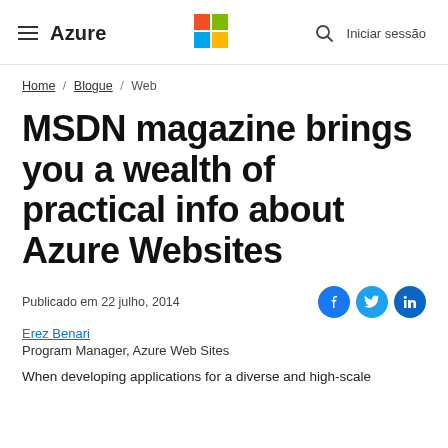Azure | Microsoft logo | search | Iniciar sessão
Home / Blogue / Web
MSDN magazine brings you a wealth of practical info about Azure Websites
Publicado em 22 julho, 2014
Erez Benari
Program Manager, Azure Web Sites
When developing applications for a diverse and high-scale